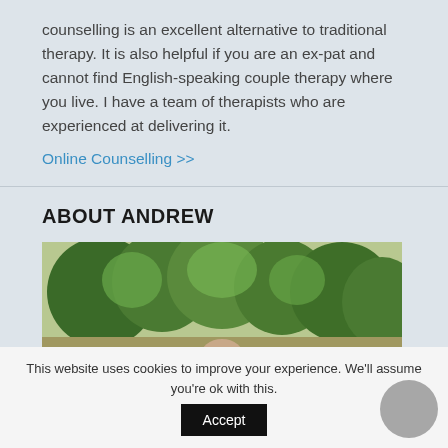counselling is an excellent alternative to traditional therapy. It is also helpful if you are an ex-pat and cannot find English-speaking couple therapy where you live. I have a team of therapists who are experienced at delivering it.
Online Counselling >>
ABOUT ANDREW
[Figure (photo): Outdoor photo showing trees and garden with a person's head visible at the bottom center.]
This website uses cookies to improve your experience. We'll assume you're ok with this.